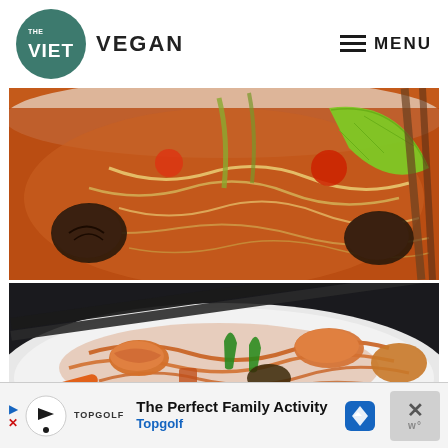[Figure (logo): The Viet Vegan logo — dark teal circle with 'THE VIET' text inside and 'VEGAN' text to the right]
≡ MENU
[Figure (photo): Overhead photo of a bowl of Vietnamese tomato-based noodle soup with glass noodles, mushrooms, tomatoes, lemongrass, and a lime wedge, with chopsticks on the side]
[Figure (photo): Close-up photo of a stir-fried glass noodle dish with shrimp-like pieces, green peppers, carrots and black chopsticks across the plate on a dark background]
The Perfect Family Activity
Topgolf